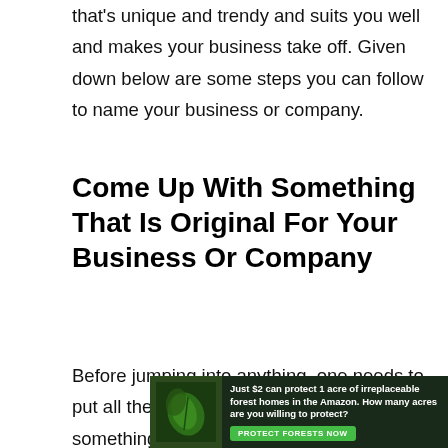that's unique and trendy and suits you well and makes your business take off. Given down below are some steps you can follow to name your business or company.
Come Up With Something That Is Original For Your Business Or Company
Before jumping into anything, one needs to put all their effort into coming up with something authentic, unique, trendy, and quirky. The name should speak for you and it should speak about your business. We know it sounds tough but in
[Figure (infographic): Advertisement banner: dark green background with forest/Amazon imagery on the left side, text reading 'Just $2 can protect 1 acre of irreplaceable forest homes in the Amazon. How many acres are you willing to protect?' with a green 'PROTECT FORESTS NOW' button.]